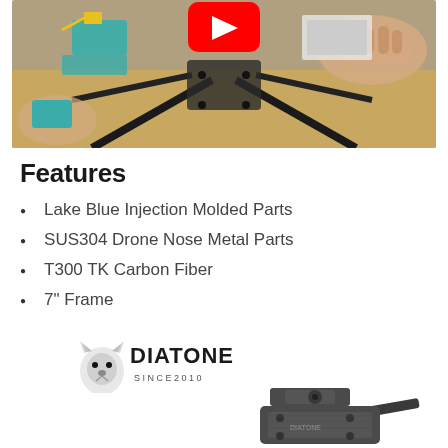[Figure (photo): YouTube video thumbnail showing hands assembling a drone frame on a workbench, with a red YouTube play button overlay in the center top]
Features
Lake Blue Injection Molded Parts
SUS304 Drone Nose Metal Parts
T300 TK Carbon Fiber
7" Frame
[Figure (logo): Diatone logo with wolf head icon and text DIATONE SINCE2010]
[Figure (photo): Diatone 7-inch drone frame partially visible at bottom of page, dark carbon fiber construction]